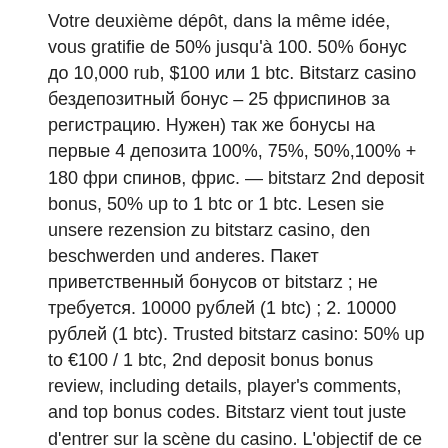Votre deuxième dépôt, dans la même idée, vous gratifie de 50% jusqu'à 100. 50% бонус до 10,000 rub, $100 или 1 btc. Bitstarz casino бездепозитный бонус – 25 фриспинов за регистрацию. Нужен) так же бонусы на первые 4 депозита 100%, 75%, 50%,100% + 180 фри спинов, фрис. — bitstarz 2nd deposit bonus, 50% up to 1 btc or 1 btc. Lesen sie unsere rezension zu bitstarz casino, den beschwerden und anderes. Пакет приветственный бонусов от bitstarz ; не требуется. 10000 рублей (1 btc) ; 2. 10000 рублей (1 btc). Trusted bitstarz casino: 50% up to €100 / 1 btc, 2nd deposit bonus bonus review, including details, player's comments, and top bonus codes. Bitstarz vient tout juste d'entrer sur la scène du casino. L'objectif de ce casino est de damer le pion à la concurrence. Promos: after the welcome package (4 bonuses up to 800$), bitstarz offers a variety of other promotions, including & not complete last line